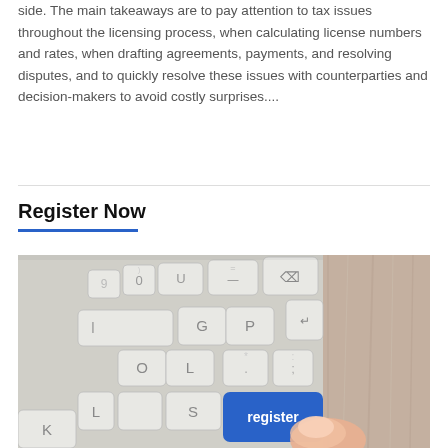side. The main takeaways are to pay attention to tax issues throughout the licensing process, when calculating license numbers and rates, when drafting agreements, payments, and resolving disputes, and to quickly resolve these issues with counterparties and decision-makers to avoid costly surprises....
Register Now
[Figure (photo): Close-up photo of a keyboard with a blue 'register' key being pressed by a finger, wooden desk surface visible in background.]